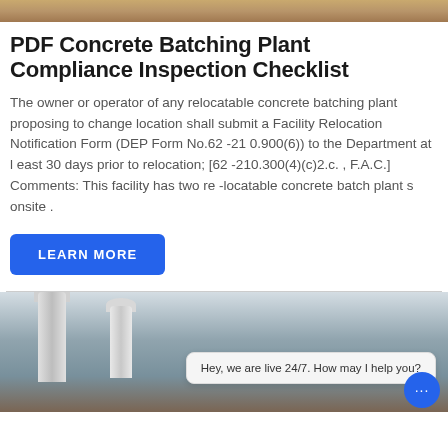[Figure (photo): Top banner showing a sandy/wooden textured surface in warm brown tones]
PDF Concrete Batching Plant Compliance Inspection Checklist
The owner or operator of any relocatable concrete batching plant proposing to change location shall submit a Facility Relocation Notification Form (DEP Form No.62 -21 0.900(6)) to the Department at l east 30 days prior to relocation; [62 -210.300(4)(c)2.c. , F.A.C.] Comments: This facility has two re -locatable concrete batch plant s onsite .
LEARN MORE
[Figure (photo): Bottom photo showing concrete batching plant silos and structures, with a live chat popup overlay reading 'Hey, we are live 24/7. How may I help you?' and a blue chat button with three dots]